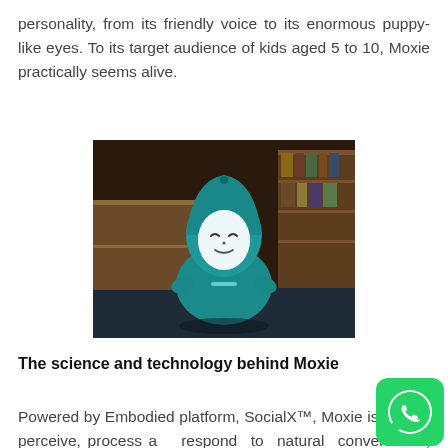personality, from its friendly voice to its enormous puppy-like eyes. To its target audience of kids aged 5 to 10, Moxie practically seems alive.
[Figure (photo): Photo of the Moxie robot — a teal/turquoise rounded robot with a glowing white oval face displaying closed eyes and a subtle smile, sitting on a surface in a dimly lit bedroom with a bookshelf in the background.]
The science and technology behind Moxie
Powered by Embodied platform, SocialX™, Moxie is able to perceive, process and respond to natural conversation, eye